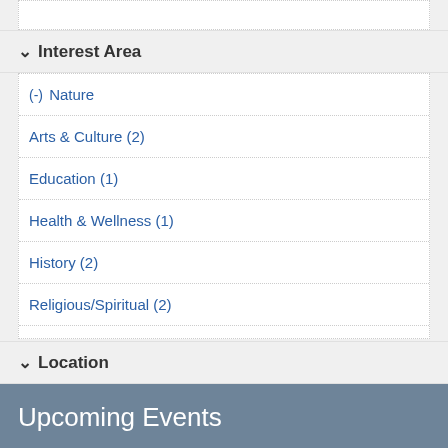Interest Area
(-) Nature
Arts & Culture (2)
Education (1)
Health & Wellness (1)
History (2)
Religious/Spiritual (2)
Location
Upcoming Events
Cochineal: How Mexico Made the